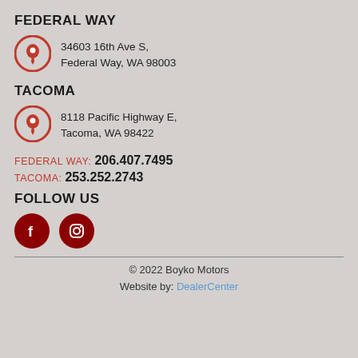FEDERAL WAY
34603 16th Ave S, Federal Way, WA 98003
TACOMA
8118 Pacific Highway E, Tacoma, WA 98422
FEDERAL WAY: 206.407.7495
TACOMA: 253.252.2743
FOLLOW US
[Figure (illustration): Facebook and Instagram social media icon buttons (dark red circles with white icons)]
© 2022 Boyko Motors
Website by: DealerCenter